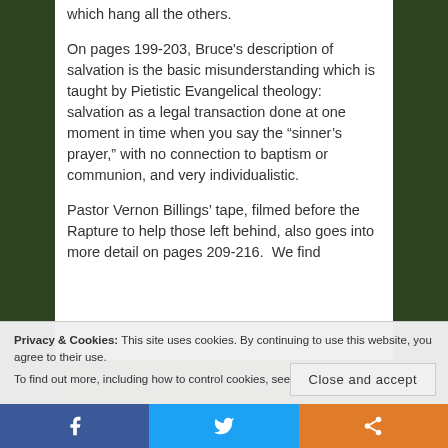which hang all the others.
On pages 199-203, Bruce's description of salvation is the basic misunderstanding which is taught by Pietistic Evangelical theology: salvation as a legal transaction done at one moment in time when you say the “sinner’s prayer,” with no connection to baptism or communion, and very individualistic.
Pastor Vernon Billings’ tape, filmed before the Rapture to help those left behind, also goes into more detail on pages 209-216.  We find
Privacy & Cookies: This site uses cookies. By continuing to use this website, you agree to their use.
To find out more, including how to control cookies, see here: Cookie Policy